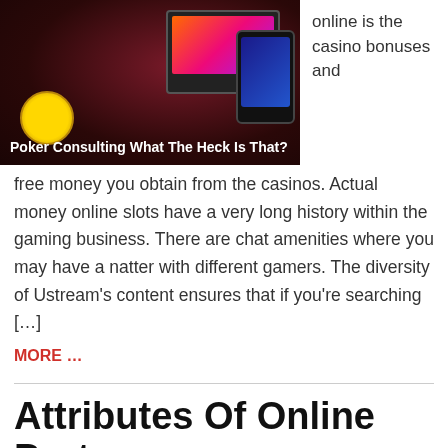[Figure (photo): Screenshot of casino/slot game on monitor and phone with gold coin, with overlay label 'Poker Consulting What The Heck Is That?']
online is the casino bonuses and free money you obtain from the casinos. Actual money online slots have a very long history within the gaming business. There are chat amenities where you may have a natter with different gamers. The diversity of Ustream's content ensures that if you're searching […]
MORE …
Attributes Of Online Port
By admin
June 21, 2022   0
[Figure (photo): Casino slot machines with neon lighting; red 'slot' badge overlay]
So, you do